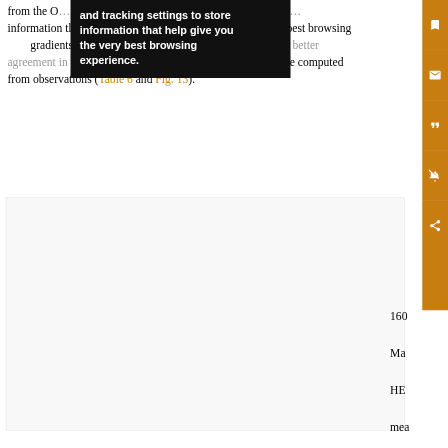from the O… and tracking settings to store information that help give you the very best browsing experience. …h the observations …evels. Because a …tical gradients, …UTC run + SST to attain much better agreement in modified refractivity when compared with those computed from observations (Table 6 and Fig. 13).
[Figure (other): Partially visible figure area below the text]
160
Ma…
HE…
mea…
loca…